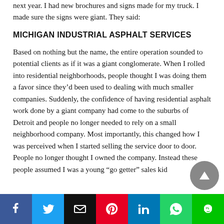next year. I had new brochures and signs made for my truck. I made sure the signs were giant. They said:
MICHIGAN INDUSTRIAL ASPHALT SERVICES
Based on nothing but the name, the entire operation sounded to potential clients as if it was a giant conglomerate. When I rolled into residential neighborhoods, people thought I was doing them a favor since they'd been used to dealing with much smaller companies. Suddenly, the confidence of having residential asphalt work done by a giant company had come to the suburbs of Detroit and people no longer needed to rely on a small neighborhood company. Most importantly, this changed how I was perceived when I started selling the service door to door. People no longer thought I owned the company. Instead these people assumed I was a young "go getter" sales kid